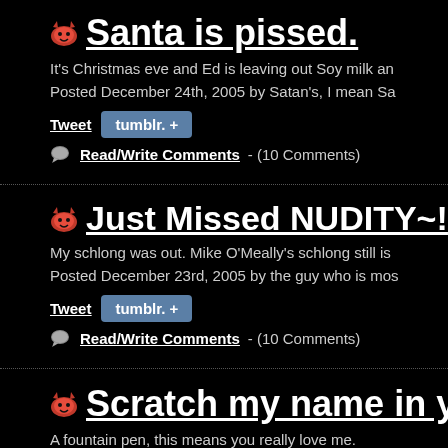Santa is pissed.
It's Christmas eve and Ed is leaving out Soy milk an
Posted December 24th, 2005 by Satan's, I mean Sa
Tweet  tumblr. +
Read/Write Comments - (10 Comments)
Just Missed NUDITY~!
My schlong was out. Mike O'Meally's schlong still is
Posted December 23rd, 2005 by the guy who is mos
Tweet  tumblr. +
Read/Write Comments - (10 Comments)
Scratch my name in yo
A fountain pen, this means you really love me.
Posted December 23rd, 2005 by stick a pot handle u
Tweet  tumblr. +
Read/Write Comments - (4 Comments)